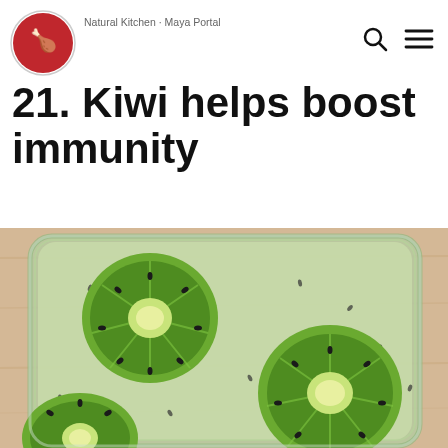Natural Kitchen · Maya Portal
21. Kiwi helps boost immunity
[Figure (photo): Overhead view of sliced kiwi fruit arranged in a glass rectangular container filled with green kiwi smoothie or puree, placed on a wooden surface.]